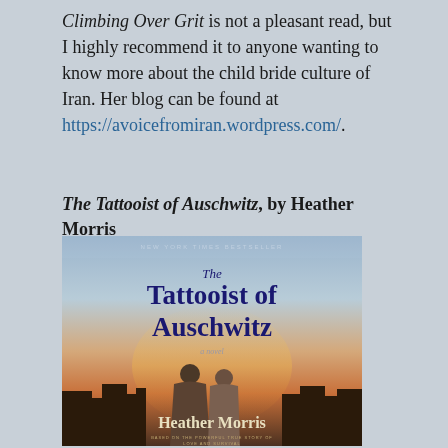Climbing Over Grit is not a pleasant read, but I highly recommend it to anyone wanting to know more about the child bride culture of Iran. Her blog can be found at https://avoicefromiran.wordpress.com/.
The Tattooist of Auschwitz, by Heather Morris
[Figure (photo): Book cover of 'The Tattooist of Auschwitz' by Heather Morris. New York Times Bestseller. Shows two figures from behind against a cityscape background. Tagline: Based on the powerful true story of love and survival.]